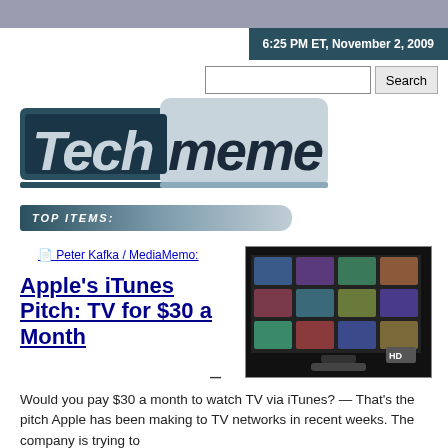6:25 PM ET, November 2, 2009
[Figure (logo): Techmeme logo with blue and dark blue branding]
TOP ITEMS:
Peter Kafka / MediaMemo:
Apple's iTunes Pitch: TV for $30 a Month
[Figure (photo): Apple TV screen showing HD content grid interface]
Would you pay $30 a month to watch TV via iTunes?  —  That's the pitch Apple has been making to TV networks in recent weeks.  The company is trying to work out a content licensing agreement...